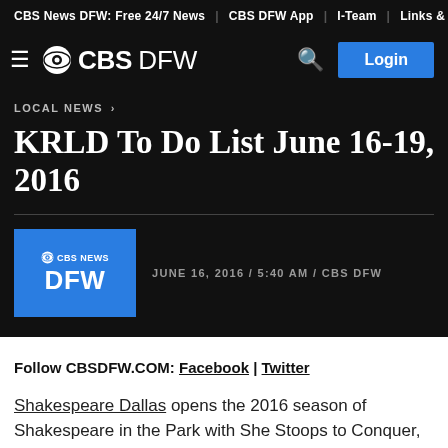CBS News DFW: Free 24/7 News | CBS DFW App | I-Team | Links & N…
[Figure (logo): CBS DFW logo with CBS eye icon, hamburger menu, search icon, and Login button on dark background]
LOCAL NEWS >
KRLD To Do List June 16-19, 2016
JUNE 16, 2016 / 5:40 AM / CBS DFW
[Figure (logo): CBS News DFW blue square logo thumbnail]
Follow CBSDFW.COM: Facebook | Twitter
Shakespeare Dallas opens the 2016 season of Shakespeare in the Park with She Stoops to Conquer,